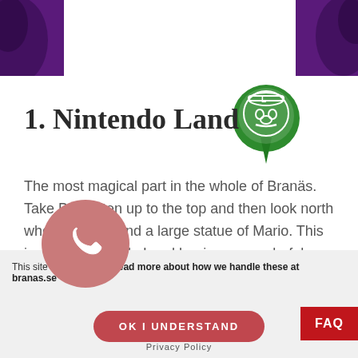[Figure (illustration): Purple/dark decorative background band at top of page with texture]
[Figure (illustration): Green map pin icon with Luigi/Mario face illustration]
1. Nintendo Land
The most magical part in the whole of Branäs. Take Björnliften up to the top and then look north where you will find a large statue of Mario. This is where Nintendo Land begins, a wonderful forest path filled with famous characters from Nintendo's Mario games. in the evening, the area is lit up with fantastic colors – an experience for the whole family.
This site uses cookies. Read more about how we handle these at branas.se
OK I UNDERSTAND
Privacy Policy
FAQ
[Figure (illustration): Pink/rose circular phone button with white telephone handset icon]